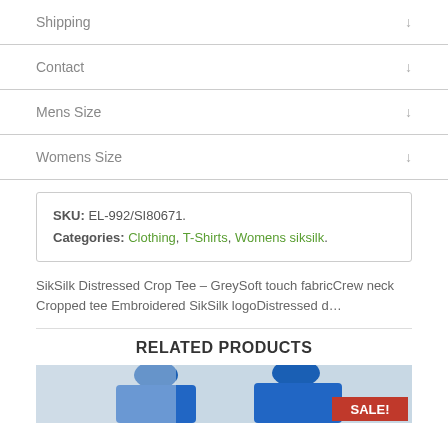Shipping
Contact
Mens Size
Womens Size
SKU: EL-992/SI80671.
Categories: Clothing, T-Shirts, Womens siksilk.
SikSilk Distressed Crop Tee – GreySoft touch fabricCrew neck Cropped tee Embroidered SikSilk logoDistressed d…
RELATED PRODUCTS
[Figure (photo): Two people wearing blue hooded sweatshirts, with a red SALE! badge in the bottom right corner.]